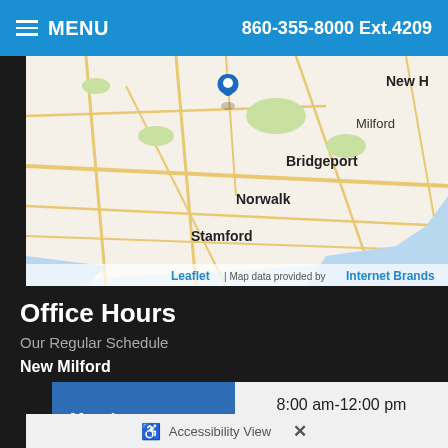MENU  860-355-8000 Ext.4209
[Figure (map): Street map showing southern Connecticut area with cities Stamford, Norwalk, Bridgeport, Milford, New Haven (partial). A blue location pin is placed near the center-top of the map. Map credit: Leaflet | Map data provided by Internet Brands.]
Leaflet | Map data provided by Internet Brands
Office Hours
Our Regular Schedule
New Milford
| Day | Hours |
| --- | --- |
| Monday: | 8:00 am-12:00 pm
2:00 pm-6:00 pm |
Accessibility View